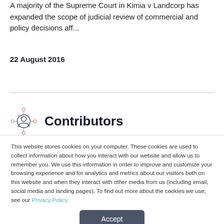A majority of the Supreme Court in Kimia v Landcorp has expanded the scope of judicial review of commercial and policy decisions aff...
22 August 2016
Contributors
This website stores cookies on your computer. These cookies are used to collect information about how you interact with our website and allow us to remember you. We use this information in order to improve and customize your browsing experience and for analytics and metrics about our visitors both on this website and when they interact with other media from us (including email, social media and landing pages). To find out more about the cookies we use, see our Privacy Policy.
Accept